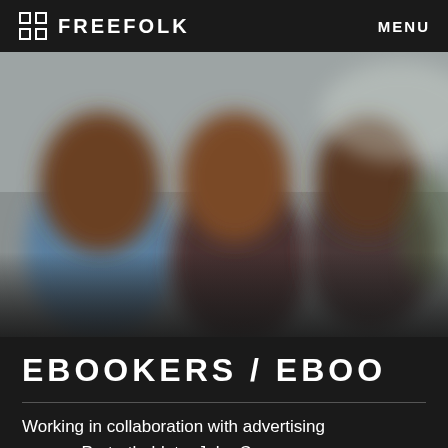FREEFOLK   MENU
[Figure (photo): Blurred photo of three people, two with long wavy hair on the left and a third figure on the right, with a light background]
EBOOKERS / EBOO
Working in collaboration with advertising agency Portertheblute, John C...